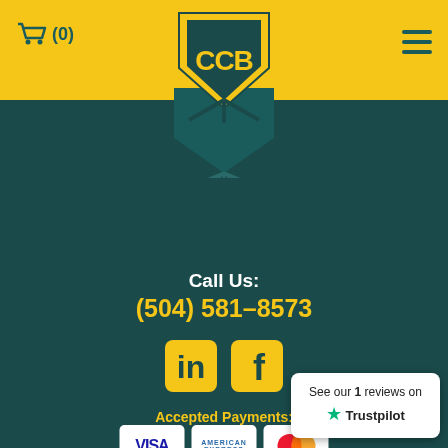[Figure (logo): CCB logo with yellow shield and teal background, baseball/bat design]
Call Us:
(504) 581-8573
[Figure (illustration): LinkedIn and Facebook social media icons in yellow rounded squares]
Accepted Payments:
[Figure (illustration): Payment card logos: VISA, American Express, Mastercard, Discover, JCB, Diners Club]
Shipping & Returns
Terms &
My account
Checkout
See our 1 reviews on Trustpilot